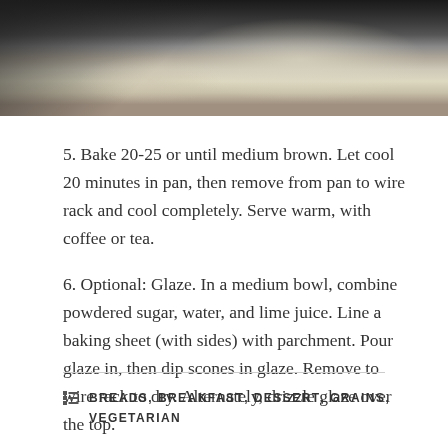[Figure (photo): Close-up photo of baked scones in a dark/black baking pan, showing golden-brown tops with visible texture]
5. Bake 20-25 or until medium brown. Let cool 20 minutes in pan, then remove from pan to wire rack and cool completely. Serve warm, with coffee or tea.
6. Optional: Glaze. In a medium bowl, combine powdered sugar, water, and lime juice. Line a baking sheet (with sides) with parchment. Pour glaze in, then dip scones in glaze. Remove to wire rack to dry. Alternately, drizzle glaze over the top.
BREADS, BREAKFAST, DESSERT, GRAINS, VEGETARIAN